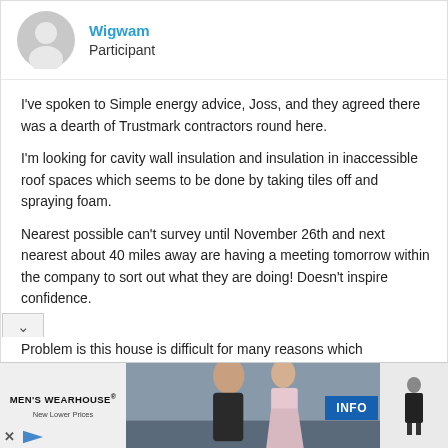[Figure (illustration): Grey circular avatar/profile icon placeholder]
Wigwam
Participant
I've spoken to Simple energy advice, Joss, and they agreed there was a dearth of Trustmark contractors round here.
I'm looking for cavity wall insulation and insulation in inaccessible roof spaces which seems to be done by taking tiles off and spraying foam.
Nearest possible can't survey until November 26th and next nearest about 40 miles away are having a meeting tomorrow within the company to sort out what they are doing! Doesn't inspire confidence.
Problem is this house is difficult for many reasons which
[Figure (photo): Men's Wearhouse advertisement showing a couple in formal wear and a man in a suit, with INFO button]